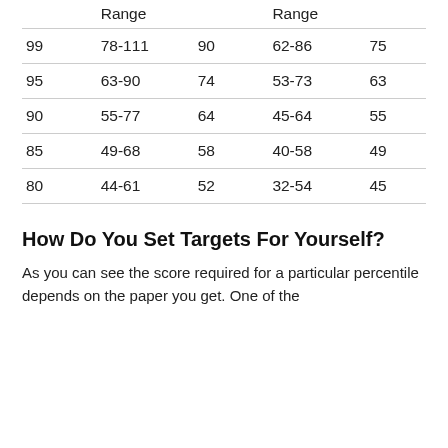|  | Range |  | Range |  |
| --- | --- | --- | --- | --- |
| 99 | 78-111 | 90 | 62-86 | 75 |
| 95 | 63-90 | 74 | 53-73 | 63 |
| 90 | 55-77 | 64 | 45-64 | 55 |
| 85 | 49-68 | 58 | 40-58 | 49 |
| 80 | 44-61 | 52 | 32-54 | 45 |
How Do You Set Targets For Yourself?
As you can see the score required for a particular percentile depends on the paper you get. One of the